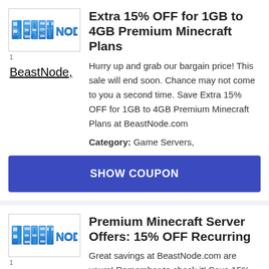[Figure (logo): BeastNode logo - blue 3D block text style]
BeastNode,
Extra 15% OFF for 1GB to 4GB Premium Minecraft Plans
Hurry up and grab our bargain price! This sale will end soon. Chance may not come to you a second time. Save Extra 15% OFF for 1GB to 4GB Premium Minecraft Plans at BeastNode.com
Category: Game Servers,
SHOW COUPON
[Figure (logo): BeastNode logo - blue 3D block text style]
Premium Minecraft Server Offers: 15% OFF Recurring
Great savings at BeastNode.com are yours! Remember to check it! Save 15% OFF For Life on Premium Minecraft Server Packages